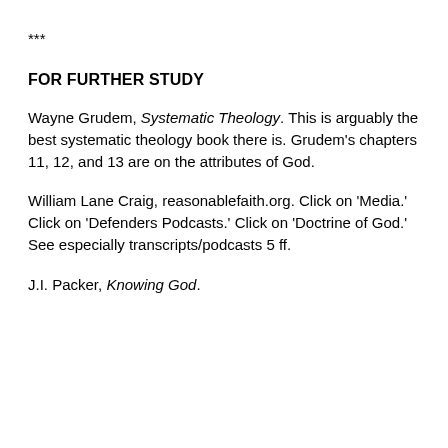***
FOR FURTHER STUDY
Wayne Grudem, Systematic Theology. This is arguably the best systematic theology book there is. Grudem's chapters 11, 12, and 13 are on the attributes of God.
William Lane Craig, reasonablefaith.org. Click on 'Media.' Click on 'Defenders Podcasts.' Click on 'Doctrine of God.' See especially transcripts/podcasts 5 ff.
J.I. Packer, Knowing God.